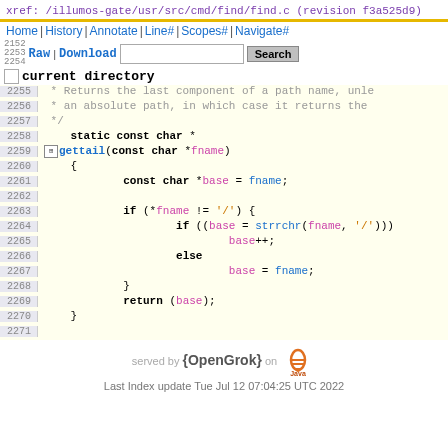xref: /illumos-gate/usr/src/cmd/find/find.c (revision f3a525d9)
Home | History | Annotate | Line# | Scopes# | Navigate#
Raw | Download  [Search]  current directory
2252  * Returns the last component of a path name, unle
2253
2254  current directory
2255   * Returns the last component of a path name, unle
2256   * an absolute path, in which case it returns the
2257   */
2258   static const char *
2259   gettail(const char *fname)
2260   {
2261           const char *base = fname;
2262
2263           if (*fname != '/') {
2264                   if ((base = strrchr(fname, '/')))
2265                           base++;
2266           else
2267                   base = fname;
2268   }
2269           return (base);
2270   }
2271
served by {OpenGrok} on Java
Last Index update Tue Jul 12 07:04:25 UTC 2022